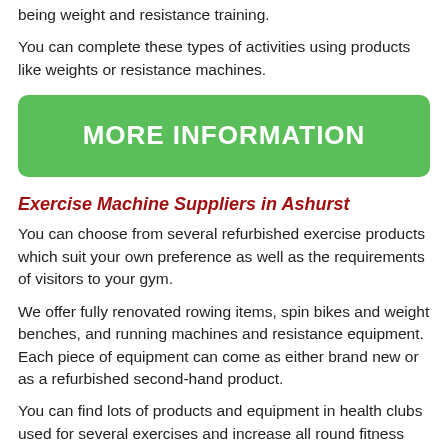being weight and resistance training.
You can complete these types of activities using products like weights or resistance machines.
[Figure (other): Green button with text MORE INFORMATION]
Exercise Machine Suppliers in Ashurst
You can choose from several refurbished exercise products which suit your own preference as well as the requirements of visitors to your gym.
We offer fully renovated rowing items, spin bikes and weight benches, and running machines and resistance equipment. Each piece of equipment can come as either brand new or as a refurbished second-hand product.
You can find lots of products and equipment in health clubs used for several exercises and increase all round fitness levels. Many establishments like this provide subscriptions that will motivate you